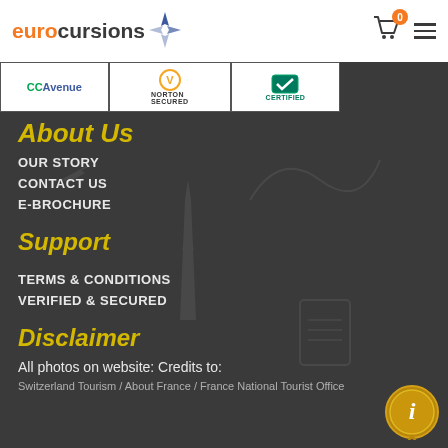eurocursions logo with cart (0 items) and hamburger menu
[Figure (logo): CC Avenue, Norton Secured, and Certified security badge logos in white boxes]
About Us
OUR STORY
CONTACT US
E-BROCHURE
Support
TERMS & CONDITIONS
VERIFIED & SECURED
Disclaimer
All photos on website: Credits to:
Switzerland Tourism / About France / France National Tourist Office